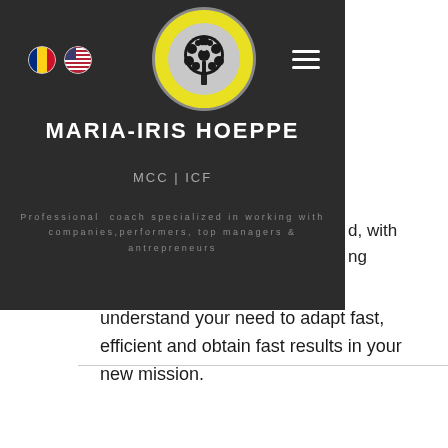[Figure (logo): Circular logo with yellow border and decorative tree design in black and white]
MARIA-IRIS HOEPPE
MCC | ICF
Professional  coach specialized in working with companies,performers, top managers & antrepreneurs
understand your need to adapt fast, efficient and obtain fast results in your new mission.